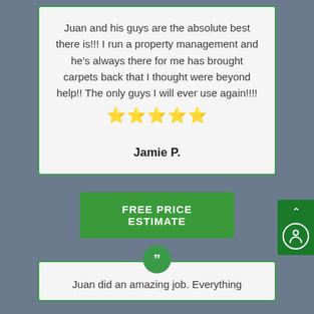Juan and his guys are the absolute best there is!!! I run a property management and he's always there for me has brought carpets back that I thought were beyond help!! The only guys I will ever use again!!!! ⭐⭐⭐⭐⭐
Jamie P.
FREE PRICE ESTIMATE
[Figure (illustration): Green circle with white quotation mark icon]
Juan did an amazing job. Everything